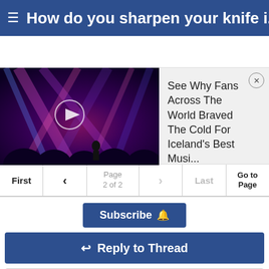How do you sharpen your knife i...
[Figure (screenshot): Ad banner showing a concert stage with colored lights and a play button, alongside text: See Why Fans Across The World Braved The Cold For Iceland's Best Musi...]
Page 2 of 2
Subscribe
Reply to Thread
Back to Subforum
Blades
View Next Unread
Machete